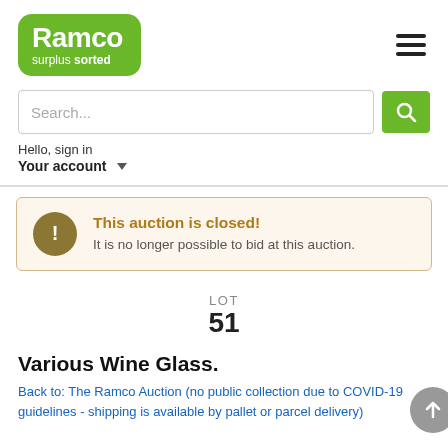[Figure (logo): Ramco surplus sorted green logo]
Search...
Hello, sign in
Your account
This auction is closed!
It is no longer possible to bid at this auction.
LOT
51
Various Wine Glass.
Back to: The Ramco Auction (no public collection due to COVID-19 guidelines - shipping is available by pallet or parcel delivery)